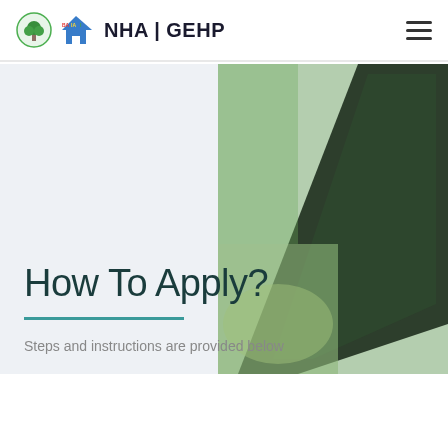NHA | GEHP
How To Apply?
Steps and instructions are provided below